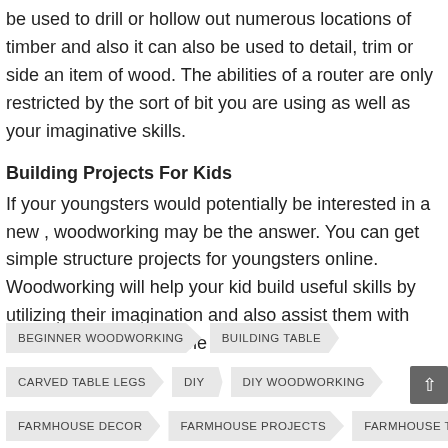be used to drill or hollow out numerous locations of timber and also it can also be used to detail, trim or side an item of wood. The abilities of a router are only restricted by the sort of bit you are using as well as your imaginative skills.
Building Projects For Kids
If your youngsters would potentially be interested in a new , woodworking may be the answer. You can get simple structure projects for youngsters online. Woodworking will help your kid build useful skills by utilizing their imagination and also assist them with math all at the very same time.
BEGINNER WOODWORKING
BUILDING TABLE
CARVED TABLE LEGS
DIY
DIY WOODWORKING
FARMHOUSE DECOR
FARMHOUSE PROJECTS
FARMHOUSE TABL
FARMHOUSE TABLE LEGS
HAND CARVED TABLE LEGS